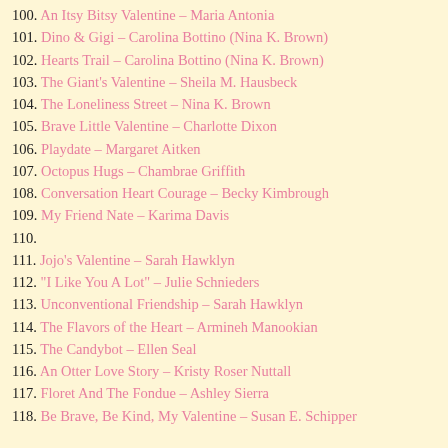100. An Itsy Bitsy Valentine – Maria Antonia
101. Dino & Gigi – Carolina Bottino (Nina K. Brown)
102. Hearts Trail – Carolina Bottino (Nina K. Brown)
103. The Giant's Valentine – Sheila M. Hausbeck
104. The Loneliness Street – Nina K. Brown
105. Brave Little Valentine – Charlotte Dixon
106. Playdate – Margaret Aitken
107. Octopus Hugs – Chambrae Griffith
108. Conversation Heart Courage – Becky Kimbrough
109. My Friend Nate – Karima Davis
110.
111. Jojo's Valentine – Sarah Hawklyn
112. "I Like You A Lot" – Julie Schnieders
113. Unconventional Friendship – Sarah Hawklyn
114. The Flavors of the Heart – Armineh Manookian
115. The Candybot – Ellen Seal
116. An Otter Love Story – Kristy Roser Nuttall
117. Floret And The Fondue – Ashley Sierra
118. Be Brave, Be Kind, My Valentine – Susan E. Schipper